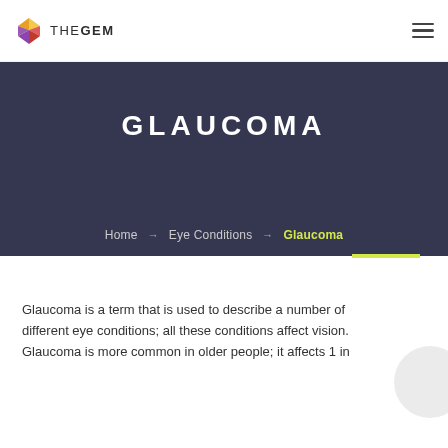THEGEM
GLAUCOMA
Home → Eye Conditions → Glaucoma
Glaucoma is a term that is used to describe a number of different eye conditions; all these conditions affect vision. Glaucoma is more common in older people; it affects 1 in